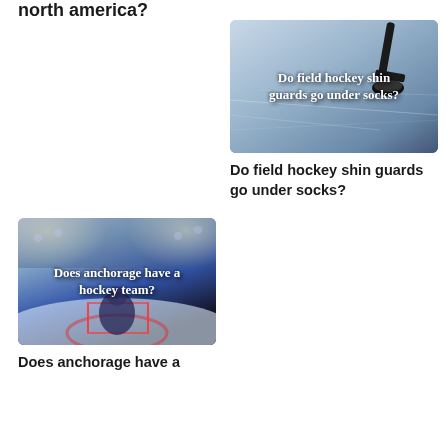north america?
[Figure (photo): Hockey stick and puck on an ice rink surface with text overlay 'Do field hockey shin guards go under socks?']
Do field hockey shin guards go under socks?
[Figure (photo): Hockey goalie making a save in an arena with text overlay 'Does anchorage have a hockey team?']
Does anchorage have a